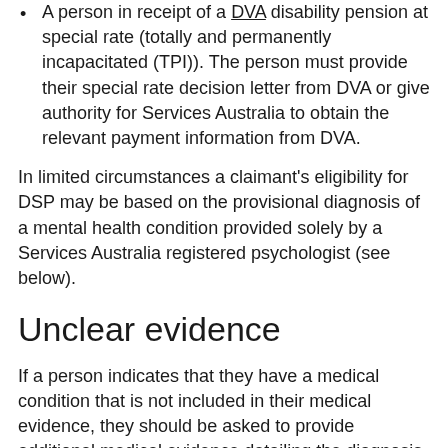A person in receipt of a DVA disability pension at special rate (totally and permanently incapacitated (TPI)). The person must provide their special rate decision letter from DVA or give authority for Services Australia to obtain the relevant payment information from DVA.
In limited circumstances a claimant's eligibility for DSP may be based on the provisional diagnosis of a mental health condition provided solely by a Services Australia registered psychologist (see below).
Unclear evidence
If a person indicates that they have a medical condition that is not included in their medical evidence, they should be asked to provide additional medical evidence detailing the diagnosis and treatment of this medical condition. This may involve the person asking the